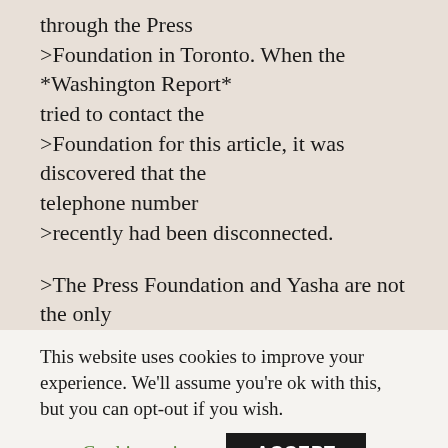through the Press >Foundation in Toronto. When the *Washington Report* tried to contact the >Foundation for this article, it was discovered that the telephone number >recently had been disconnected.

>The Press Foundation and Yasha are not the only Canadian groups breaking the >law. Conservative estimates put the number of registered Canadian charities >connected to Israel at more than 300. And, according to Drache, "there are
This website uses cookies to improve your experience. We'll assume you're ok with this, but you can opt-out if you wish.
Cookie settings
ACCEPT